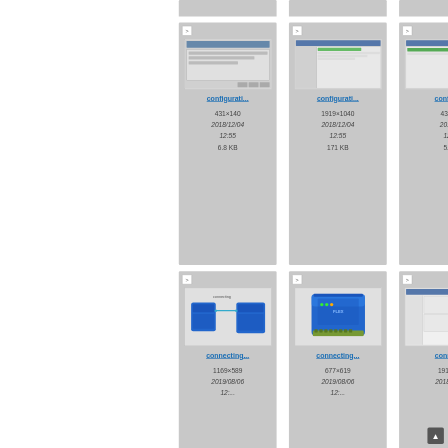[Figure (screenshot): Gallery of configuration and connecting images with thumbnails, titles, dimensions, dates and file sizes]
configurati... 431×140 2018/12/04 12:55 6.8 KB
configurati... 1919×1040 2018/12/04 12:55 171 KB
config... 434× 2018/ 12: 5...
connecting... 1169×589 2019/08/06 12:...
connecting... 677×619 2019/08/06 12:...
conne... 1919... 2018/8...